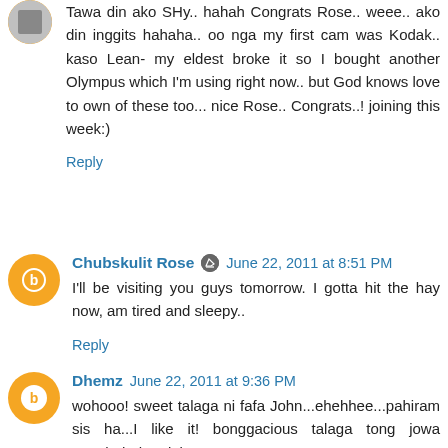Tawa din ako SHy.. hahah Congrats Rose.. weee.. ako din inggits hahaha.. oo nga my first cam was Kodak.. kaso Lean- my eldest broke it so I bought another Olympus which I'm using right now.. but God knows love to own of these too... nice Rose.. Congrats..! joining this week:)
Reply
Chubskulit Rose  June 22, 2011 at 8:51 PM
I'll be visiting you guys tomorrow. I gotta hit the hay now, am tired and sleepy..
Reply
Dhemz  June 22, 2011 at 9:36 PM
wohooo! sweet talaga ni fafa John...ehehhee...pahiram sis ha...I like it! bonggacious talaga tong jowa mo...hehehe...joke!
walang hiya pala tong si fumfie...lol!
Reply